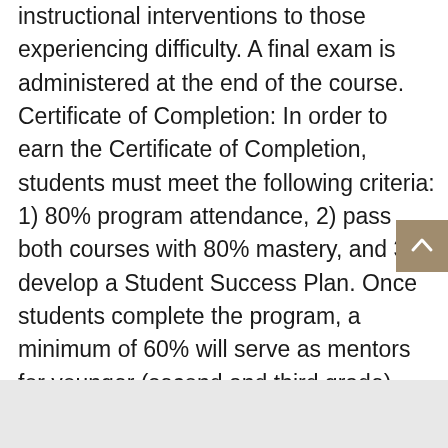instructional interventions to those experiencing difficulty. A final exam is administered at the end of the course. Certificate of Completion: In order to earn the Certificate of Completion, students must meet the following criteria: 1) 80% program attendance, 2) pass both courses with 80% mastery, and 3) develop a Student Success Plan. Once students complete the program, a minimum of 60% will serve as mentors for younger (second and third grade) male students.